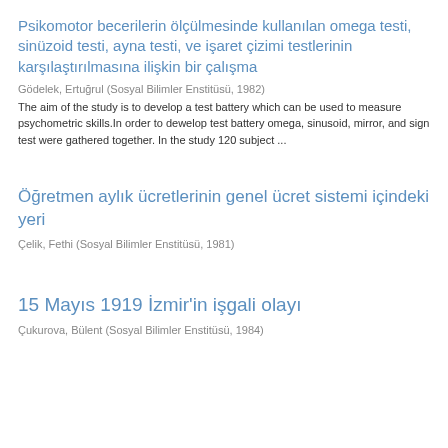Psikomotor becerilerin ölçülmesinde kullanılan omega testi, sinüzoid testi, ayna testi, ve işaret çizimi testlerinin karşılaştırılmasına ilişkin bir çalışma
Gödelek, Ertuğrul (Sosyal Bilimler Enstitüsü, 1982)
The aim of the study is to develop a test battery which can be used to measure psychometric skills.In order to dewelop test battery omega, sinusoid, mirror, and sign test were gathered together. In the study 120 subject ...
Öğretmen aylık ücretlerinin genel ücret sistemi içindeki yeri
Çelik, Fethi (Sosyal Bilimler Enstitüsü, 1981)
15 Mayıs 1919 İzmir'in işgali olayı
Çukurova, Bülent (Sosyal Bilimler Enstitüsü, 1984)